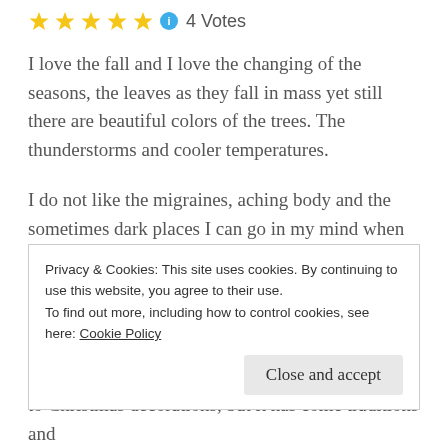[Figure (other): Five gold star rating icons followed by a blue info icon and the text '4 Votes']
I love the fall and I love the changing of the seasons, the leaves as they fall in mass yet still there are beautiful colors of the trees. The thunderstorms and cooler temperatures.
I do not like the migraines, aching body and the sometimes dark places I can go in my mind when it's rainy and icky out, I feel overwhelmed and it's cold.
Yes, those statements could seem a bit contradictory but yet there aren't. To me it's a delicate balance, I
Privacy & Cookies: This site uses cookies. By continuing to use this website, you agree to their use.
To find out more, including how to control cookies, see here: Cookie Policy
Close and accept
to Christmas decorations, but it has come traditions and